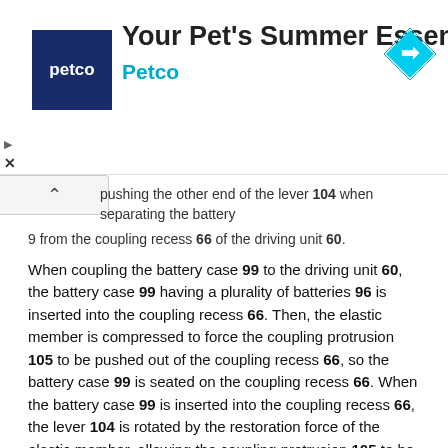[Figure (other): Petco advertisement banner showing Petco logo, 'Your Pet's Summer Essentials' heading, and navigation icon]
pushing the other end of the lever 104 when separating the battery 9 from the coupling recess 66 of the driving unit 60.
When coupling the battery case 99 to the driving unit 60, the battery case 99 having a plurality of batteries 96 is inserted into the coupling recess 66. Then, the elastic member is compressed to force the coupling protrusion 105 to be pushed out of the coupling recess 66, so the battery case 99 is seated on the coupling recess 66. When the battery case 99 is inserted into the coupling recess 66, the lever 104 is rotated by the restoration force of the elastic member, allowing the coupling protrusion 105 to be inserted into the holding groove 102. As a result, the battery case 99 can be completely mounted to the driving unit 60.
Then, when the driving unit 60 is mounted on the second mounting part 36, the terminal 92 is electrically connected to the contact point 94 so that the electrical power can be stored in the batteries 96.
Referring to FIG. 25, the power supply device 90 includes a recharging printed circuit board (PCB) 98 connected in parallel to a driving PCB 98a to supply electrical power to the terminal 92.